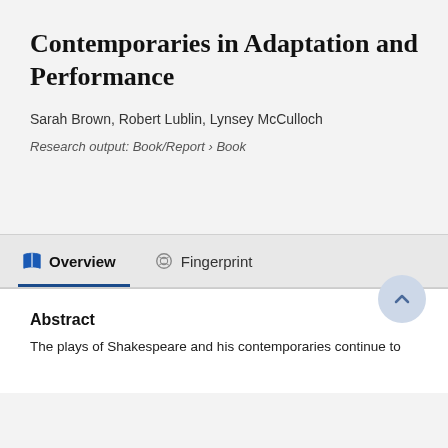Contemporaries in Adaptation and Performance
Sarah Brown, Robert Lublin, Lynsey McCulloch
Research output: Book/Report › Book
Abstract
The plays of Shakespeare and his contemporaries continue to